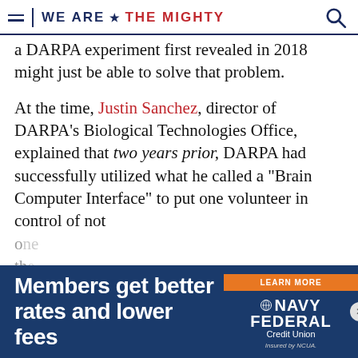WE ARE ★ THE MIGHTY
a DARPA experiment first revealed in 2018 might just be able to solve that problem.
At the time, Justin Sanchez, director of DARPA's Biological Technologies Office, explained that two years prior, DARPA had successfully utilized what he called a "Brain Computer Interface" to put one volunteer in control of not
[Figure (other): Navy Federal Credit Union advertisement banner with orange 'LEARN MORE' button. Text reads: 'Members get better rates and lower fees'. Navy Federal Credit Union logo with 'Insured by NCUA.']